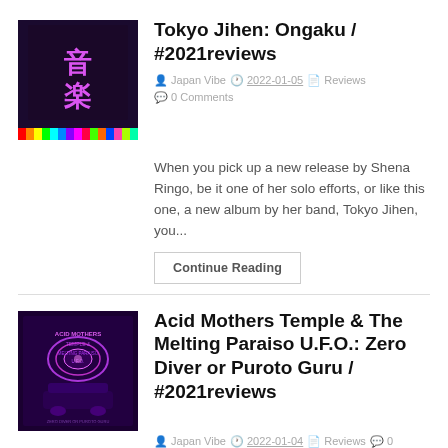[Figure (photo): Album cover for Tokyo Jihen Ongaku - purple neon Japanese characters on dark background with colorful bars at bottom]
Tokyo Jihen: Ongaku / #2021reviews
Japan Vibe  2022-01-05  Reviews  0 Comments
When you pick up a new release by Shena Ringo, be it one of her solo efforts, or like this one, a new album by her band, Tokyo Jihen, you...
Continue Reading
[Figure (photo): Album cover for Acid Mothers Temple - purple and dark psychedelic artwork with band name text]
Acid Mothers Temple & The Melting Paraiso U.F.O.: Zero Diver or Puroto Guru / #2021reviews
Japan Vibe  2022-01-04  Reviews  0